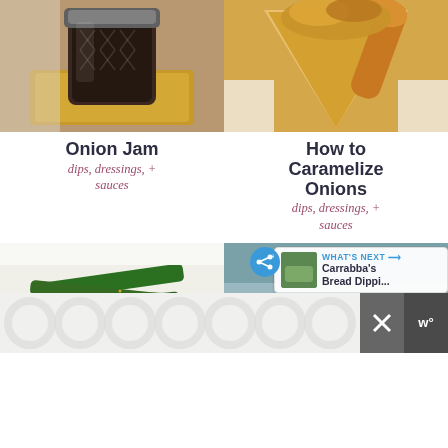[Figure (photo): Jar of dark onion jam on wooden cutting board]
[Figure (photo): Caramelized onions in a waffle cone with wooden spoon]
Onion Jam
dips, dressings, + sauces
How to Caramelize Onions
dips, dressings, + sauces
[Figure (photo): Green beans with sesame seeds on white plate]
[Figure (photo): Carrabba's bread dipping oil in bowl]
WHAT'S NEXT → Carrabba's Bread Dippi...
[Figure (other): Advertisement banner with close button and logo]